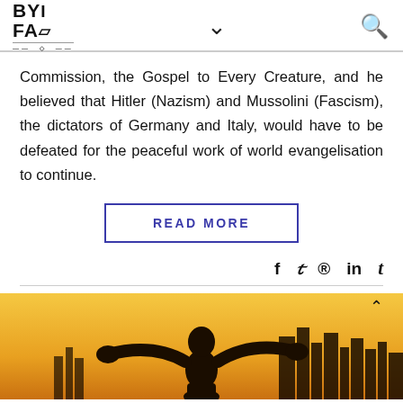BYIFAE [logo with navigation arrow and search icon]
Commission, the Gospel to Every Creature, and he believed that Hitler (Nazism) and Mussolini (Fascism), the dictators of Germany and Italy, would have to be defeated for the peaceful work of world evangelisation to continue.
READ MORE
Social share icons: f, twitter, pinterest, in, t
[Figure (photo): Silhouette of a person with arms raised wide against a golden sunset with city skyline in background]